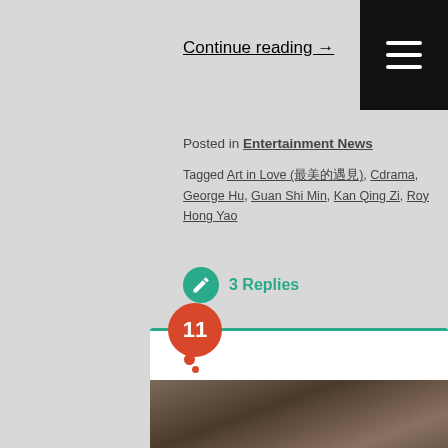Continue reading →
Posted in Entertainment News
Tagged Art in Love (最美的遇見), Cdrama, George Hu, Guan Shi Min, Kan Qing Zi, Roy Hong Yao
3 Replies
Posted on November 1, 2017 by Kappy
First trailers: Chen Kun's The Rise of Phoenixes, Wu Jin Yan's Story of Yan Xi's Palace, Zhang Yi Shan's Chong Er's Preach
[Figure (photo): Photo strip showing costumed drama characters at the bottom of the card]